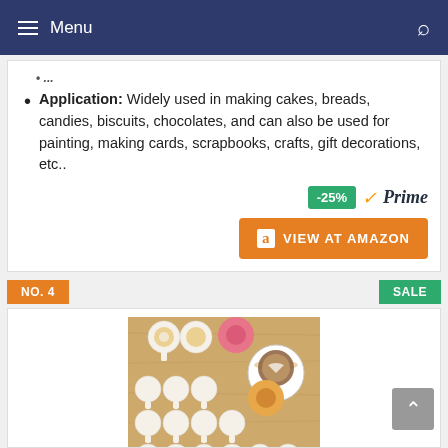Menu
Application: Widely used in making cakes, breads, candies, biscuits, chocolates, and can also be used for painting, making cards, scrapbooks, crafts, gift decorations, etc..
-25% Prime VIEW AT AMAZON
NO. 4
SALE
[Figure (photo): Product image showing decorative cake stencils and cookies on a wooden surface, including a coffee cup with latte art and various round stencil designs.]